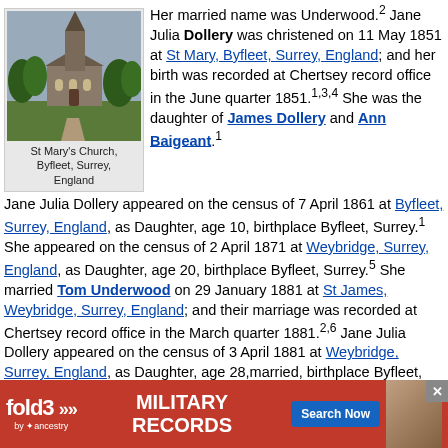[Figure (photo): Photo of St Mary's Church, Byfleet, Surrey, England - a stone church with a steeple surrounded by trees]
St Mary's Church, Byfleet, Surrey, England
Her married name was Underwood.2 Jane Julia Dollery was christened on 11 May 1851 at St Mary, Byfleet, Surrey, England; and her birth was recorded at Chertsey record office in the June quarter 1851.1,3,4 She was the daughter of James Dollery and Ann Baigeant.1 Jane Julia Dollery appeared on the census of 7 April 1861 at Byfleet, Surrey, England, as Daughter, age 10, birthplace Byfleet, Surrey.1 She appeared on the census of 2 April 1871 at Weybridge, Surrey, England, as Daughter, age 20, birthplace Byfleet, Surrey.5 She married Tom Underwood on 29 January 1881 at St James, Weybridge, Surrey, England; and their marriage was recorded at Chertsey record office in the March quarter 1881.2,6 Jane Julia Dollery appeared on the census of 3 April 1881 at Weybridge, Surrey, England, as Daughter, age 28,married, birthplace Byfleet, Surrey.7 She appeared on the census of 5 April 1891 at Weybridge, Surrey, England, as Wife, age 38, birthplace Byfleet, Surrey.8 She died before 5 January 1893; a... d office in the M... January 1893 at
[Figure (screenshot): Advertisement banner for Fold3 Military Records by Ancestry with Search Now button]